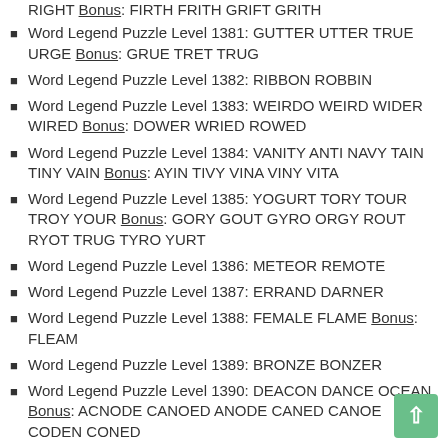Word Legend Puzzle Level 1380: FRIGHT RIGHT GIRTH RIGHT Bonus: FIRTH FRITH GRIFT GRITH
Word Legend Puzzle Level 1381: GUTTER UTTER TRUE URGE Bonus: GRUE TRET TRUG
Word Legend Puzzle Level 1382: RIBBON ROBBIN
Word Legend Puzzle Level 1383: WEIRDO WEIRD WIDER WIRED Bonus: DOWER WRIED ROWED
Word Legend Puzzle Level 1384: VANITY ANTI NAVY TAIN TINY VAIN Bonus: AYIN TIVY VINA VINY VITA
Word Legend Puzzle Level 1385: YOGURT TORY TOUR TROY YOUR Bonus: GORY GOUT GYRO ORGY ROUT RYOT TRUG TYRO YURT
Word Legend Puzzle Level 1386: METEOR REMOTE
Word Legend Puzzle Level 1387: ERRAND DARNER
Word Legend Puzzle Level 1388: FEMALE FLAME Bonus: FLEAM
Word Legend Puzzle Level 1389: BRONZE BONZER
Word Legend Puzzle Level 1390: DEACON DANCE OCEAN Bonus: ACNODE CANOED ANODE CANED CANOE CODEN CONED
Word Legend Puzzle Level 1391: AVENGE GENEVA
Word Legend Puzzle Level 1392: REGAIN REGINA